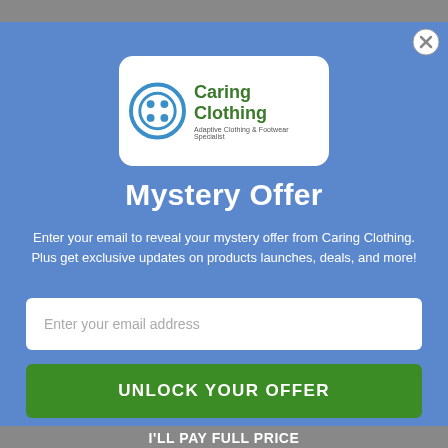[Figure (logo): Caring Clothing logo — blue circular button icon with four holes, green bold text 'Caring Clothing', subtitle 'Adaptive Clothing & Footwear Specialist', white background with rounded corners]
Mystery Offer
Enter your email to reveal your mystery offer from Caring Clothing. Plus get exclusive updates on products launches, deals, and more!
Enter your email address
UNLOCK YOUR OFFER
I'LL PAY FULL PRICE